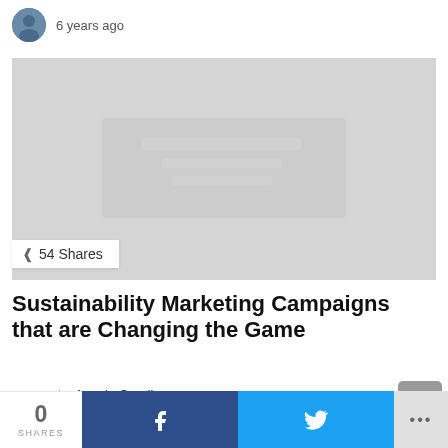6 years ago
[Figure (photo): Article hero image placeholder (light gray background)]
< 54 Shares
Sustainability Marketing Campaigns that are Changing the Game
by Angela Goodin
6 years ago
0 SHARES | Facebook share | Twitter share | More